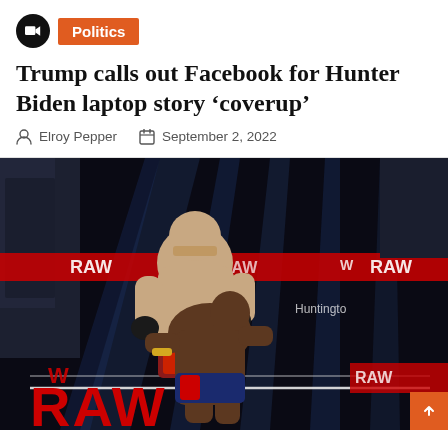Politics
Trump calls out Facebook for Hunter Biden laptop story ‘coverup’
Elroy Pepper   September 2, 2022
[Figure (photo): WWE RAW wrestling event photo showing two wrestlers grappling in the ring, with the WWE RAW logo prominently displayed in red in the lower left corner. Arena is filled with spectators and blue stage lighting.]